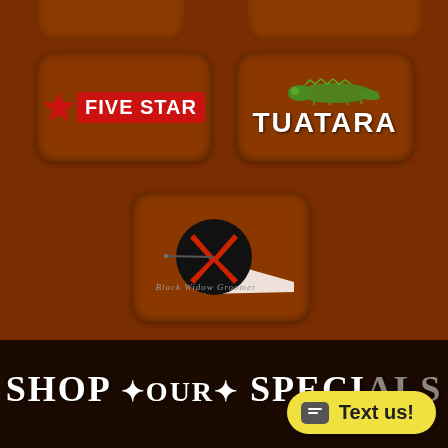[Figure (logo): Five Star brand logo with red star and red banner]
[Figure (logo): Tuatara brand logo with green lizard above white text]
[Figure (logo): Black Widow Groomer logo with hourglass spider shape]
SHOP OUR SPECIALS
Text us!